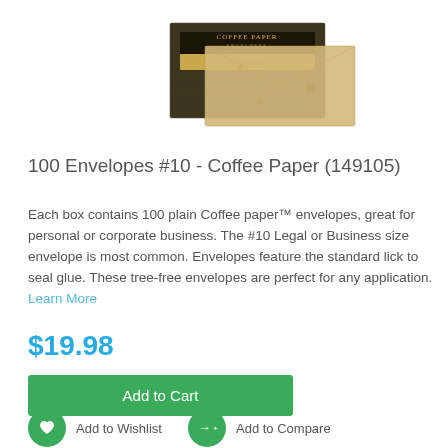[Figure (photo): Product image of Coffee Paper envelopes box showing two envelopes/boxes with dark ornate patterned design and one tan/cream envelope]
100 Envelopes #10 - Coffee Paper (149105)
Each box contains 100 plain Coffee paper™ envelopes, great for personal or corporate business. The #10 Legal or Business size envelope is most common. Envelopes feature the standard lick to seal glue. These tree-free envelopes are perfect for any application. Learn More
$19.98
Add to Cart
Add to Wishlist
Add to Compare